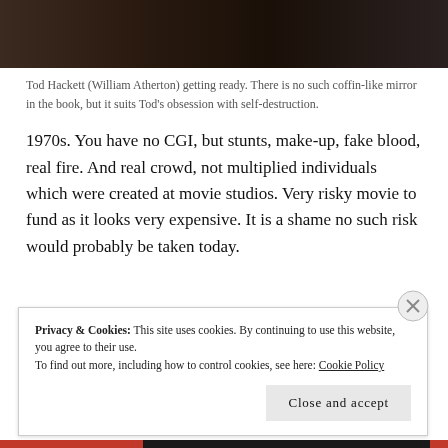[Figure (photo): Dark photograph of Tod Hackett (William Atherton) getting ready, showing a dimly lit room scene.]
Tod Hackett (William Atherton) getting ready. There is no such coffin-like mirror in the book, but it suits Tod’s obsession with self-destruction.
1970s. You have no CGI, but stunts, make-up, fake blood, real fire. And real crowd, not multiplied individuals which were created at movie studios. Very risky movie to fund as it looks very expensive. It is a shame no such risk would probably be taken today.
Privacy & Cookies: This site uses cookies. By continuing to use this website, you agree to their use. To find out more, including how to control cookies, see here: Cookie Policy
Close and accept